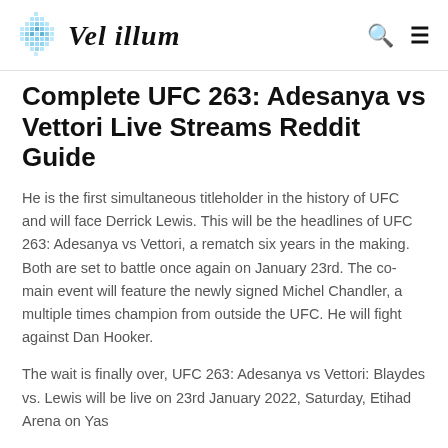Vel illum
Complete UFC 263: Adesanya vs Vettori Live Streams Reddit Guide
He is the first simultaneous titleholder in the history of UFC and will face Derrick Lewis. This will be the headlines of UFC 263: Adesanya vs Vettori, a rematch six years in the making. Both are set to battle once again on January 23rd. The co-main event will feature the newly signed Michel Chandler, a multiple times champion from outside the UFC. He will fight against Dan Hooker.
The wait is finally over, UFC 263: Adesanya vs Vettori: Blaydes vs. Lewis will be live on 23rd January 2022, Saturday, Etihad Arena on Yas